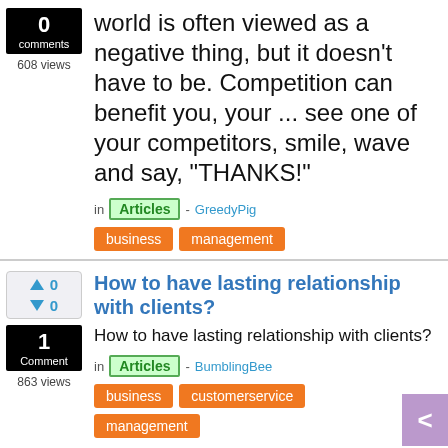world is often viewed as a negative thing, but it doesn't have to be. Competition can benefit you, your ... see one of your competitors, smile, wave and say, "THANKS!"
0 comments · 608 views
in Articles - GreedyPig
business
management
How to have lasting relationship with clients?
How to have lasting relationship with clients?
0 votes up · 0 votes down · 1 Comment · 863 views
in Articles - BumblingBee
business
customerservice
management